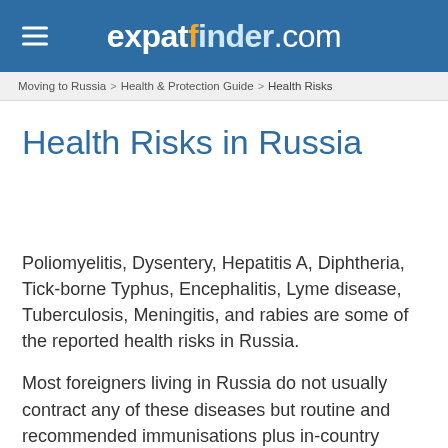expatfinder.com
Moving to Russia > Health & Protection Guide > Health Risks
Health Risks in Russia
Poliomyelitis, Dysentery, Hepatitis A, Diphtheria, Tick-borne Typhus, Encephalitis, Lyme disease, Tuberculosis, Meningitis, and rabies are some of the reported health risks in Russia.
Most foreigners living in Russia do not usually contract any of these diseases but routine and recommended immunisations plus in-country precautions could bring the